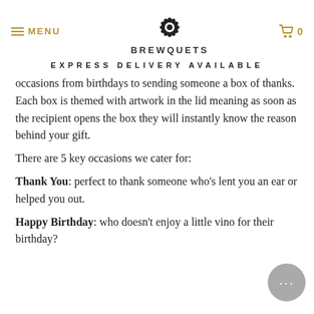MENU | BREWQUETS | 0
EXPRESS DELIVERY AVAILABLE
occasions from birthdays to sending someone a box of thanks. Each box is themed with artwork in the lid meaning as soon as the recipient opens the box they will instantly know the reason behind your gift.
There are 5 key occasions we cater for:
Thank You: perfect to thank someone who's lent you an ear or helped you out.
Happy Birthday: who doesn't enjoy a little vino for their birthday?